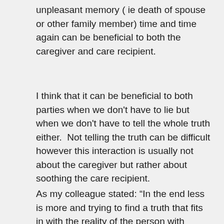unpleasant memory ( ie death of spouse or other family member) time and time again can be beneficial to both the caregiver and care recipient.
I think that it can be beneficial to both parties when we don't have to lie but when we don't have to tell the whole truth either.  Not telling the truth can be difficult however this interaction is usually not about the caregiver but rather about soothing the care recipient.
As my colleague stated: “In the end less is more and trying to find a truth that fits in with the reality of the person with